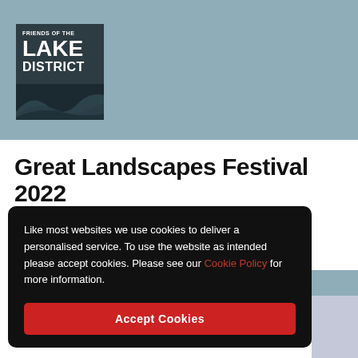[Figure (logo): Friends of the Lake District logo — dark teal/slate square with white text 'FRIENDS OF THE LAKE DISTRICT' and stylized wave/contour lines at bottom]
Great Landscapes Festival 2022
Like most websites we use cookies to deliver a personalised service. To use the website as intended please accept cookies. Please see our Cookie Policy for more information.
Accept Cookies